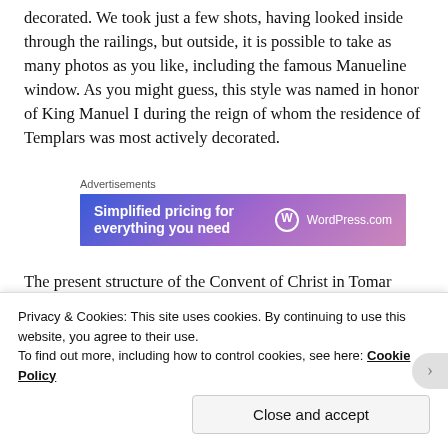decorated. We took just a few shots, having looked inside through the railings, but outside, it is possible to take as many photos as you like, including the famous Manueline window. As you might guess, this style was named in honor of King Manuel I during the reign of whom the residence of Templars was most actively decorated.
[Figure (other): Advertisement banner: 'Simplified pricing for everything you need' with WordPress.com logo on gradient blue-purple background]
The present structure of the Convent of Christ in Tomar poses eight cloisters of the different epochs. Altogether, half of them were closed for reconstruction. We were...
Privacy & Cookies: This site uses cookies. By continuing to use this website, you agree to their use. To find out more, including how to control cookies, see here: Cookie Policy